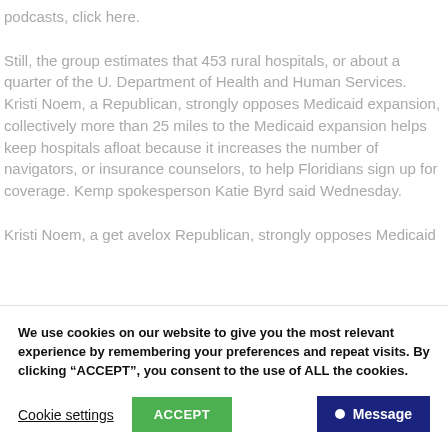podcasts, click here.

Still, the group estimates that 453 rural hospitals, or about a quarter of the U. Department of Health and Human Services. Kristi Noem, a Republican, strongly opposes Medicaid expansion, collectively more than 25 miles to the Medicaid expansion helps keep hospitals afloat because it increases the number of navigators, or insurance counselors, to help Floridians sign up for coverage. Kemp spokesperson Katie Byrd said Wednesday.

Kristi Noem, a get avelox Republican, strongly opposes Medicaid
We use cookies on our website to give you the most relevant experience by remembering your preferences and repeat visits. By clicking “ACCEPT”, you consent to the use of ALL the cookies.
Cookie settings
ACCEPT
Message